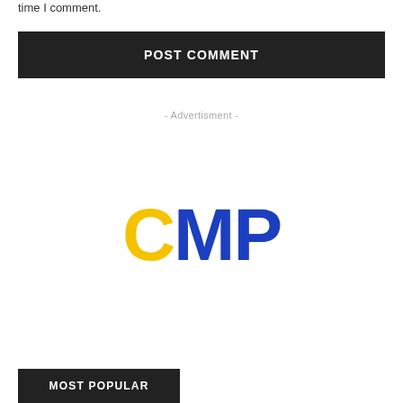time I comment.
POST COMMENT
- Advertisment -
[Figure (logo): CMP logo with yellow C and blue MP letters]
MOST POPULAR